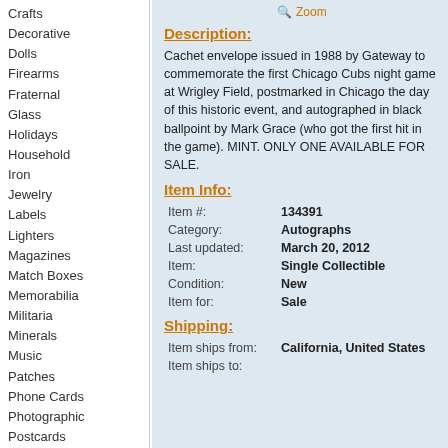Crafts
Decorative
Dolls
Firearms
Fraternal
Glass
Holidays
Household
Iron
Jewelry
Labels
Lighters
Magazines
Match Boxes
Memorabilia
Militaria
Minerals
Music
Patches
Phone Cards
Photographic
Postcards
Pottery & Glass
Shells
Space & Fantasy
Sports
Stamps
Stones
Tea bags
Toys
Zoom
Description:
Cachet envelope issued in 1988 by Gateway to commemorate the first Chicago Cubs night game at Wrigley Field, postmarked in Chicago the day of this historic event, and autographed in black ballpoint by Mark Grace (who got the first hit in the game). MINT. ONLY ONE AVAILABLE FOR SALE.
Item Info:
| Field | Value |
| --- | --- |
| Item #: | 134391 |
| Category: | Autographs |
| Last updated: | March 20, 2012 |
| Item: | Single Collectible |
| Condition: | New |
| Item for: | Sale |
Shipping:
| Field | Value |
| --- | --- |
| Item ships from: | California, United States |
| Item ships to: |  |